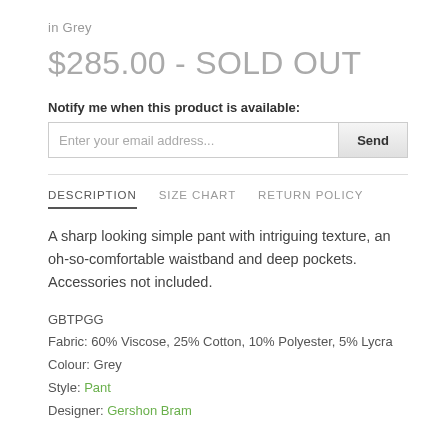in Grey
$285.00 - SOLD OUT
Notify me when this product is available:
Enter your email address... [Send button]
DESCRIPTION   SIZE CHART   RETURN POLICY
A sharp looking simple pant with intriguing texture, an oh-so-comfortable waistband and deep pockets. Accessories not included.
GBTPGG
Fabric: 60% Viscose, 25% Cotton, 10% Polyester, 5% Lycra
Colour: Grey
Style: Pant
Designer: Gershon Bram